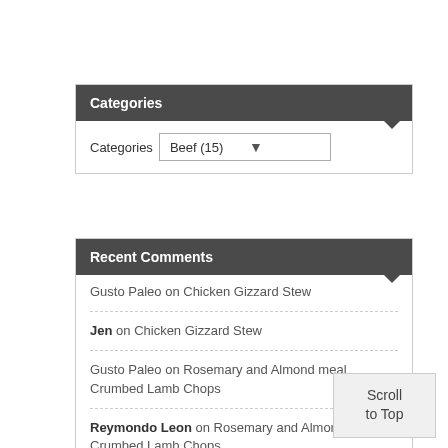Categories
Categories: Beef (15)
Recent Comments
Gusto Paleo on Chicken Gizzard Stew
Jen on Chicken Gizzard Stew
Gusto Paleo on Rosemary and Almond meal Crumbed Lamb Chops
Reymondo Leon on Rosemary and Almond meal Crumbed Lamb Chops
Gusto Paleo on Coconut, Lemon and Date Muffins
Scroll to Top